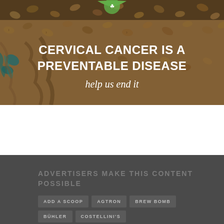[Figure (photo): Photo of coffee beans in a burlap sack with teal accent, overlaid with white text: 'CERVICAL CANCER IS A PREVENTABLE DISEASE' and italic 'help us end it']
ADVERTISERS MAKE THIS CONTENT POSSIBLE
ADD A SCOOP
AGTRON
BREW BOMB
BÜHLER
COSTELLINI'S